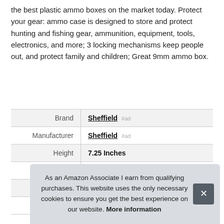the best plastic ammo boxes on the market today. Protect your gear: ammo case is designed to store and protect hunting and fishing gear, ammunition, equipment, tools, electronics, and more; 3 locking mechanisms keep people out, and protect family and children; Great 9mm ammo box.
|  |  |
| --- | --- |
| Brand | Sheffield #ad |
| Manufacturer | Sheffield #ad |
| Height | 7.25 Inches |
| Length | 11.5 Inches |
| Weight | 0.7 Pounds |
| P |  |
As an Amazon Associate I earn from qualifying purchases. This website uses the only necessary cookies to ensure you get the best experience on our website. More information